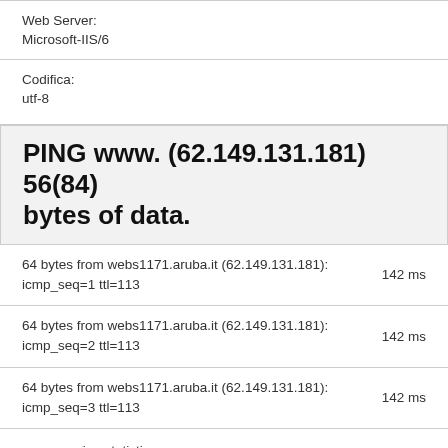Web Server:
Microsoft-IIS/6
Codifica:
utf-8
PING www. (62.149.131.181) 56(84) bytes of data.
64 bytes from webs1171.aruba.it (62.149.131.181): icmp_seq=1 ttl=113	142 ms
64 bytes from webs1171.aruba.it (62.149.131.181): icmp_seq=2 ttl=113	142 ms
64 bytes from webs1171.aruba.it (62.149.131.181): icmp_seq=3 ttl=113	142 ms
--- www. ping statistics ---